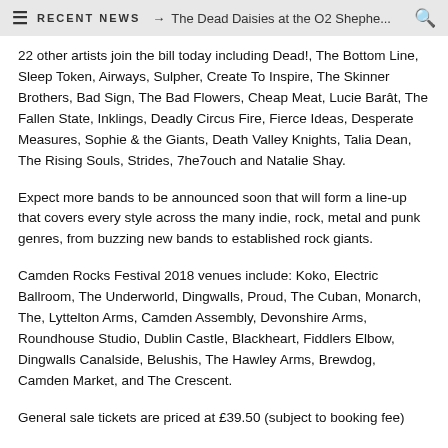≡  RECENT NEWS → The Dead Daisies at the O2 Shephe... 🔍
22 other artists join the bill today including Dead!, The Bottom Line, Sleep Token, Airways, Sulpher, Create To Inspire, The Skinner Brothers, Bad Sign, The Bad Flowers, Cheap Meat, Lucie Barât, The Fallen State, Inklings, Deadly Circus Fire, Fierce Ideas, Desperate Measures, Sophie & the Giants, Death Valley Knights, Talia Dean, The Rising Souls, Strides, 7he7ouch and Natalie Shay.
Expect more bands to be announced soon that will form a line-up that covers every style across the many indie, rock, metal and punk genres, from buzzing new bands to established rock giants.
Camden Rocks Festival 2018 venues include: Koko, Electric Ballroom, The Underworld, Dingwalls, Proud, The Cuban, Monarch, The, Lyttelton Arms, Camden Assembly, Devonshire Arms, Roundhouse Studio, Dublin Castle, Blackheart, Fiddlers Elbow, Dingwalls Canalside, Belushis, The Hawley Arms, Brewdog, Camden Market, and The Crescent.
General sale tickets are priced at £39.50 (subject to booking fee)